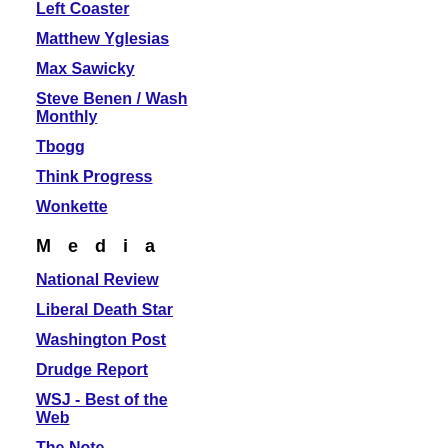Left Coaster
Matthew Yglesias
Max Sawicky
Steve Benen / Wash Monthly
Tbogg
Think Progress
Wonkette
M e d i a
National Review
Liberal Death Star
Washington Post
Drudge Report
WSJ - Best of the Web
The Note
NY Times Link Genie
NY Times Perma-Links
My Way
[Figure (illustration): Red abstract network/web graphic on pink background]
Looking at it from an entirely nature of the Left":
What they are really po'd abo expressed a lament that he h event on his watch that gave opportunity for his greatness is that had they been doing w GW initiated after 911, they w have been heroes.
They would have uncovered t ordered the bombing and killi
Thousands of books would ha written, movies made and Go BE
IN POWER.
No wonder the new mayor of on TV immediately after GW the plot on the "Liberty" (love misunderestimated) errrrr "Li Tower in LA. Of course, he w
It is really no different than th